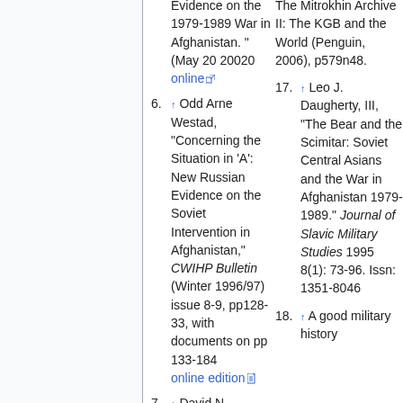(continuation) Evidence on the 1979-1989 War in Afghanistan. " (May 20 20020 online
6. ↑ Odd Arne Westad, "Concerning the Situation in 'A': New Russian Evidence on the Soviet Intervention in Afghanistan," CWIHP Bulletin (Winter 1996/97) issue 8-9, pp128-33, with documents on pp 133-184 online edition
7. ↑ David N.
(continuation) The Mitrokhin Archive II: The KGB and the World (Penguin, 2006), p579n48.
17. ↑ Leo J. Daugherty, III, "The Bear and the Scimitar: Soviet Central Asians and the War in Afghanistan 1979-1989." Journal of Slavic Military Studies 1995 8(1): 73-96. Issn: 1351-8046
18. ↑ A good military history